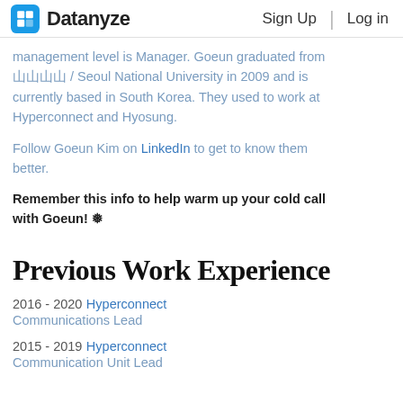Datanyze  Sign Up  Log in
management level is Manager. Goeun graduated from 서울대 / Seoul National University in 2009 and is currently based in South Korea. They used to work at Hyperconnect and Hyosung.
Follow Goeun Kim on LinkedIn to get to know them better.
Remember this info to help warm up your cold call with Goeun! ❄
Previous Work Experience
2016 - 2020  Hyperconnect
Communications Lead
2015 - 2019  Hyperconnect
Communication Unit Lead